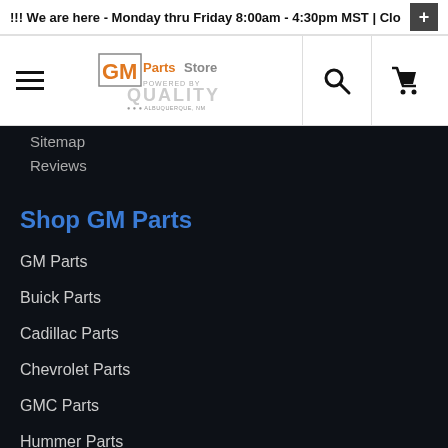!!! We are here - Monday thru Friday 8:00am - 4:30pm MST | Clos
[Figure (logo): GM Parts Store logo powered by Quality, Albuquerque NM]
Sitemap
Reviews
Shop GM Parts
GM Parts
Buick Parts
Cadillac Parts
Chevrolet Parts
GMC Parts
Hummer Parts
Pontiac Parts
Saturn Parts